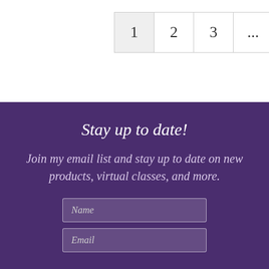1  2  3  ...  33  Next »
Stay up to date!
Join my email list and stay up to date on new products, virtual classes, and more.